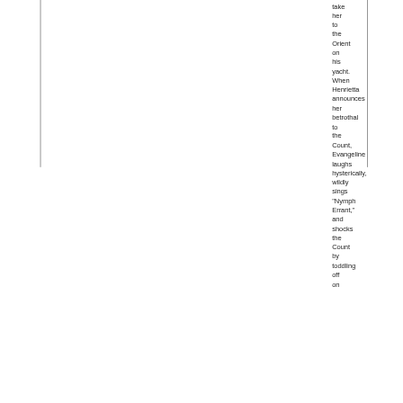to take her to the Orient on his yacht. When Henrietta announces her betrothal to the Count, Evangeline laughs hysterically, wildly sings "Nymph Errant," and shocks the Count by toddling off on